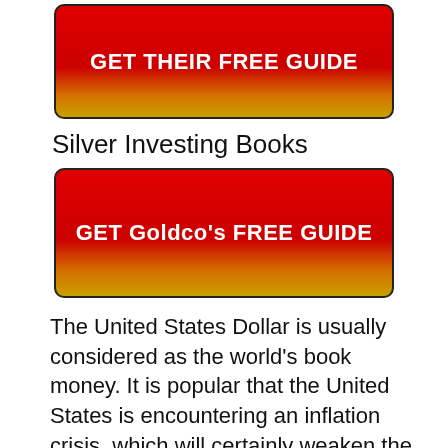[Figure (other): Red-to-gold gradient button with text GET THEIR FREE GUIDE]
Silver Investing Books
[Figure (other): Red-to-gold gradient button with text GET Goldco's FREE GUIDE]
The United States Dollar is usually considered as the world's book money. It is popular that the United States is encountering an inflation crisis, which will certainly weaken the buying power of the US Dollar. As the power of the reserve currency decreases, individuals not simply in the